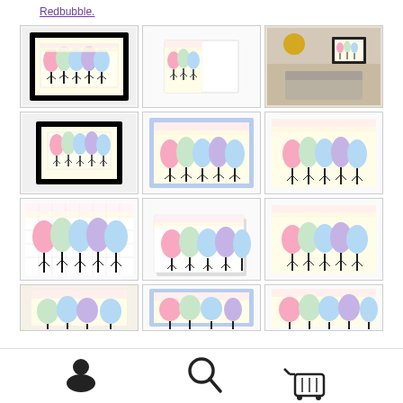Redbubble.
[Figure (screenshot): Grid of 12 product thumbnail images showing colorful tree artwork (pink, green, blue, purple trees) in various product formats: framed prints, greeting cards, wall art, posters, prints, canvas prints, etc. on Redbubble marketplace.]
[Figure (infographic): Bottom navigation bar with user account icon, search icon, and shopping cart icon showing badge count 0.]